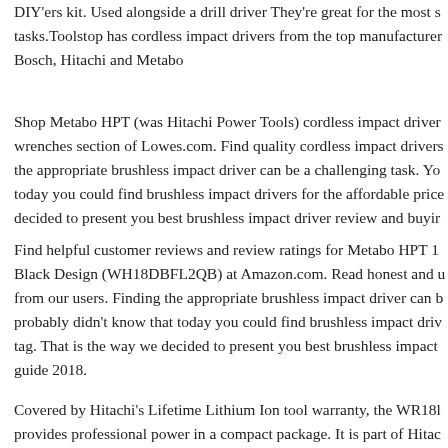DIY'ers kit. Used alongside a drill driver They're great for the most s tasks.Toolstop has cordless impact drivers from the top manufacturer Bosch, Hitachi and Metabo
Shop Metabo HPT (was Hitachi Power Tools) cordless impact driver wrenches section of Lowes.com. Find quality cordless impact drivers the appropriate brushless impact driver can be a challenging task. Yo today you could find brushless impact drivers for the affordable price decided to present you best brushless impact driver review and buyir
Find helpful customer reviews and review ratings for Metabo HPT 1 Black Design (WH18DBFL2QB) at Amazon.com. Read honest and u from our users. Finding the appropriate brushless impact driver can b probably didn't know that today you could find brushless impact driv tag. That is the way we decided to present you best brushless impact guide 2018.
Covered by Hitachi's Lifetime Lithium Ion tool warranty, the WR18l provides professional power in a compact package. It is part of Hitac